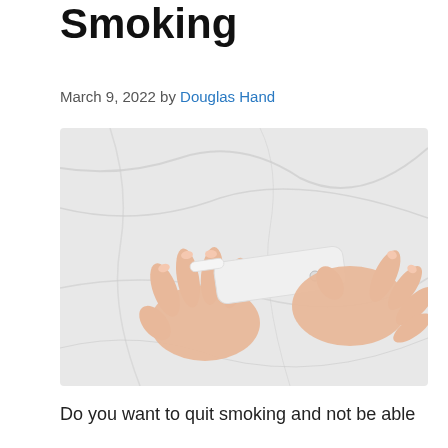Smoking
March 9, 2022 by Douglas Hand
[Figure (photo): Two hands holding a white IQOS or similar electronic smoking device against a white marble background. One hand holds the body of the device, the other holds a smaller cigarette-shaped component being inserted or removed.]
Do you want to quit smoking and not be able